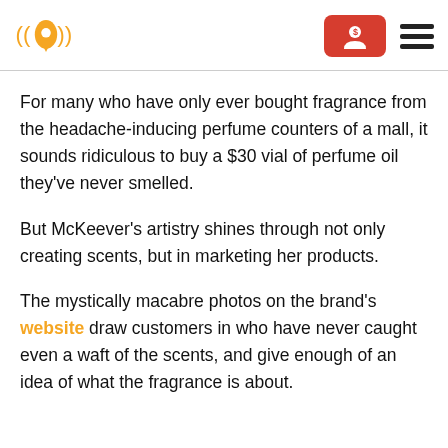[Logo: location pin with sound waves] [Red account button] [Hamburger menu]
For many who have only ever bought fragrance from the headache-inducing perfume counters of a mall, it sounds ridiculous to buy a $30 vial of perfume oil they've never smelled.
But McKeever's artistry shines through not only creating scents, but in marketing her products.
The mystically macabre photos on the brand's website draw customers in who have never caught even a waft of the scents, and give enough of an idea of what the fragrance is about.